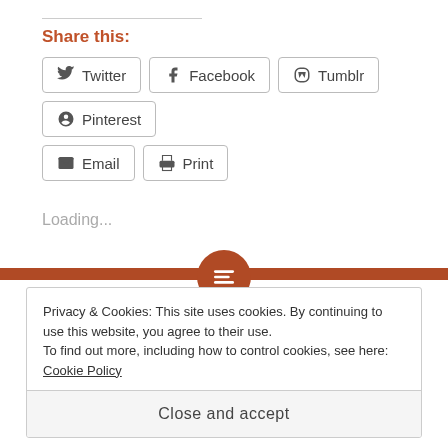Share this:
Twitter
Facebook
Tumblr
Pinterest
Email
Print
Loading...
Privacy & Cookies: This site uses cookies. By continuing to use this website, you agree to their use. To find out more, including how to control cookies, see here: Cookie Policy
Close and accept